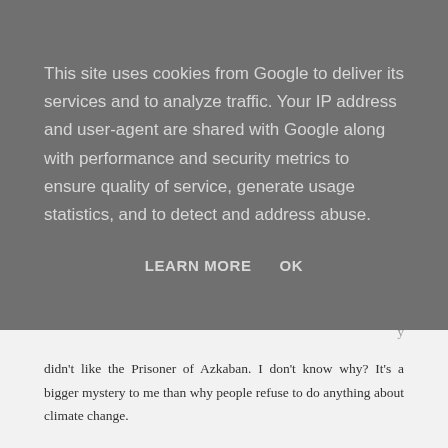This site uses cookies from Google to deliver its services and to analyze traffic. Your IP address and user-agent are shared with Google along with performance and security metrics to ensure quality of service, generate usage statistics, and to detect and address abuse.
LEARN MORE   OK
didn't like the Prisoner of Azkaban. I don't know why? It's a bigger mystery to me than why people refuse to do anything about climate change.
A little confession, because of my past disklike of PoS, I have